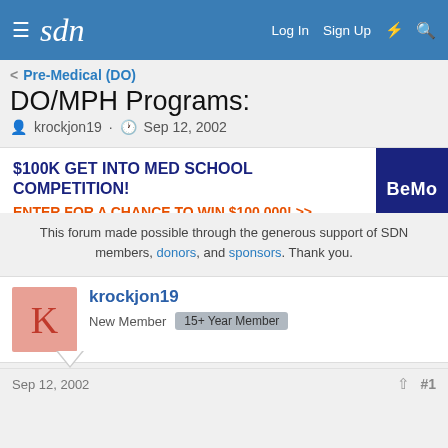sdn  Log In  Sign Up
< Pre-Medical (DO)
DO/MPH Programs:
krockjon19 · Sep 12, 2002
[Figure (infographic): $100K GET INTO MED SCHOOL COMPETITION! ENTER FOR A CHANCE TO WIN $100,000! >> BeMo logo]
This forum made possible through the generous support of SDN members, donors, and sponsors. Thank you.
krockjon19
New Member  15+ Year Member
Sep 12, 2002  #1